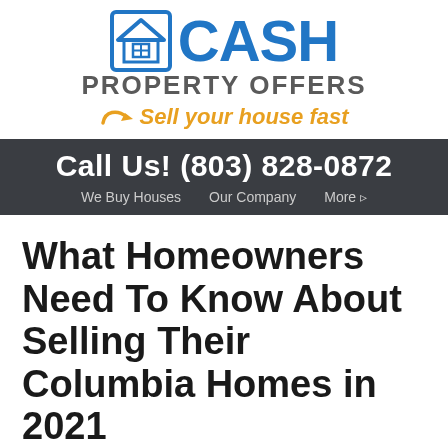[Figure (logo): Cash Property Offers logo with house icon, CASH in blue bold text, PROPERTY OFFERS in gray, and tagline 'Sell your house fast' in orange italic with arrow]
Call Us! (803) 828-0872
We Buy Houses  Our Company  More ▸
What Homeowners Need To Know About Selling Their Columbia Homes in 2021